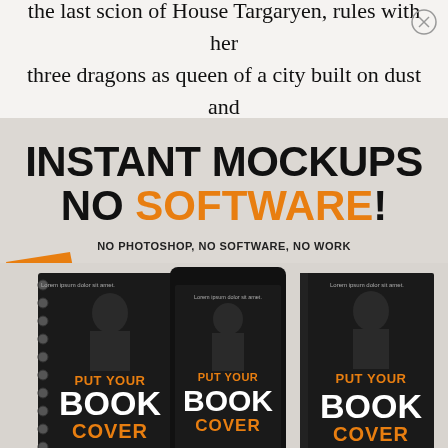the last scion of House Targaryen, rules with her three dragons as queen of a city built on dust and
[Figure (infographic): Advertisement showing book mockups with text: INSTANT MOCKUPS NO SOFTWARE! NO PHOTOSHOP, NO SOFTWARE, NO WORK. FREE badge. Three book cover mockups showing PUT YOUR BOOK COVER with AUTHOR NAME on a white brick wall background.]